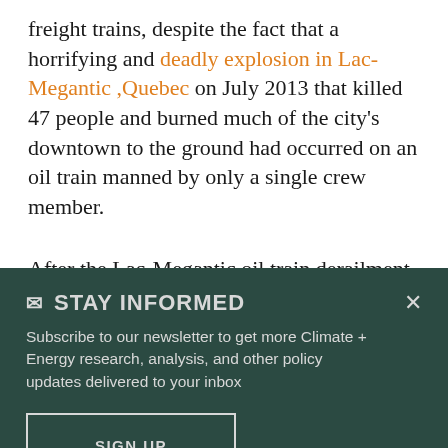freight trains, despite the fact that a horrifying and deadly explosion in Lac-Megantic ,Quebec on July 2013 that killed 47 people and burned much of the city's downtown to the ground had occurred on an oil train manned by only a single crew member.
After the Lac-Megantic oil train derailment,
✉ STAY INFORMED
Subscribe to our newsletter to get more Climate + Energy research, analysis, and other policy updates delivered to your inbox
SIGN UP